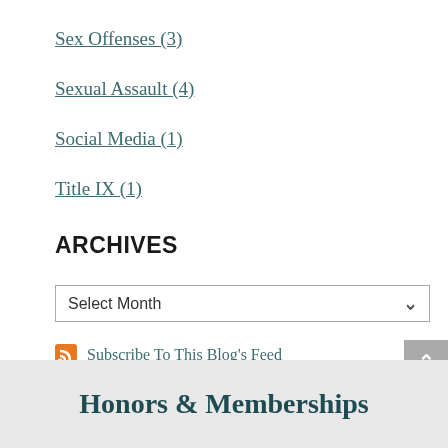Sex Offenses (3)
Sexual Assault (4)
Social Media (1)
Title IX (1)
ARCHIVES
Select Month
Subscribe To This Blog's Feed
[Figure (logo): FindLaw Network logo with orange FindLaw text and gray Network text]
Honors & Memberships